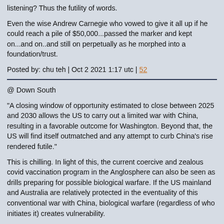listening? Thus the futility of words.
Even the wise Andrew Carnegie who vowed to give it all up if he could reach a pile of $50,000...passed the marker and kept on...and on..and still on perpetually as he morphed into a foundation/trust.
Posted by: chu teh | Oct 2 2021 1:17 utc | 52
@ Down South
“A closing window of opportunity estimated to close between 2025 and 2030 allows the US to carry out a limited war with China, resulting in a favorable outcome for Washington. Beyond that, the US will find itself outmatched and any attempt to curb China’s rise rendered futile.”
This is chilling. In light of this, the current coercive and zealous covid vaccination program in the Anglosphere can also be seen as drills preparing for possible biological warfare. If the US mainland and Australia are relatively protected in the eventuality of this conventional war with China, biological warfare (regardless of who initiates it) creates vulnerability.
Thanks for the link. It all makes sense now: why California is mandating vaccination for school children when their risk of dying from covid is 2 per million infected.